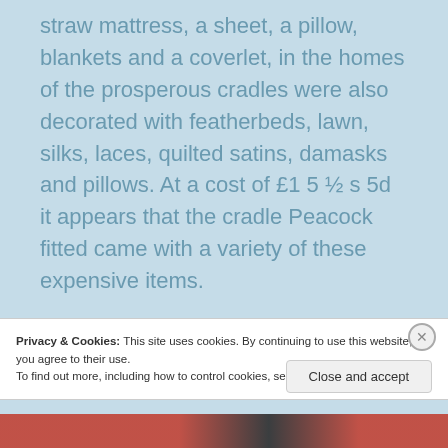straw mattress, a sheet, a pillow, blankets and a coverlet, in the homes of the prosperous cradles were also decorated with featherbeds, lawn, silks, laces, quilted satins, damasks and pillows. At a cost of £1 5 ½ s 5d it appears that the cradle Peacock fitted came with a variety of these expensive items.
The ability to develop and furnish a nursery room remained the province of wealthier individuals throughout the eighteenth century.
Privacy & Cookies: This site uses cookies. By continuing to use this website, you agree to their use.
To find out more, including how to control cookies, see here: Cookie Policy